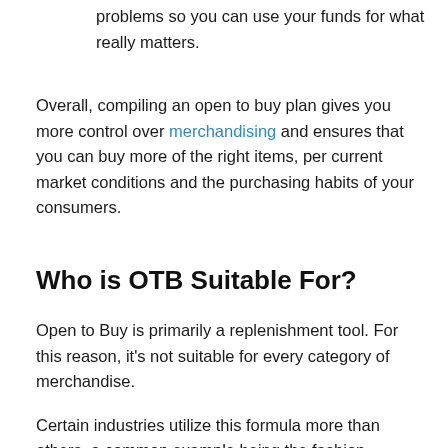problems so you can use your funds for what really matters.
Overall, compiling an open to buy plan gives you more control over merchandising and ensures that you can buy more of the right items, per current market conditions and the purchasing habits of your consumers.
Who is OTB Suitable For?
Open to Buy is primarily a replenishment tool. For this reason, it’s not suitable for every category of merchandise.
Certain industries utilize this formula more than others, a common example being the fashion industry.
Industries that will get the most use from OTB are those where product specifications change regularly, but the classifications and subclassifications of said products remain the same. It’s also useful for highly seasonal businesses,